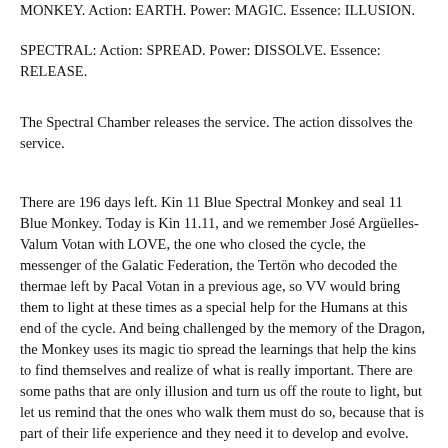MONKEY. Action: EARTH. Power: MAGIC. Essence: ILLUSION.
SPECTRAL: Action: SPREAD. Power: DISSOLVE. Essence: RELEASE.
The Spectral Chamber releases the service. The action dissolves the service.
There are 196 days left. Kin 11 Blue Spectral Monkey and seal 11 Blue Monkey. Today is Kin 11.11, and we remember José Argüelles-Valum Votan with LOVE, the one who closed the cycle, the messenger of the Galatic Federation, the Tertön who decoded the thermae left by Pacal Votan in a previous age, so VV would bring them to light at these times as a special help for the Humans at this end of the cycle. And being challenged by the memory of the Dragon, the Monkey uses its magic tio spread the learnings that help the kins to find themselves and realize of what is really important. There are some paths that are only illusion and turn us off the route to light, but let us remind that the ones who walk them must do so, because that is part of their life experience and they need it to develop and evolve. All is perfect!